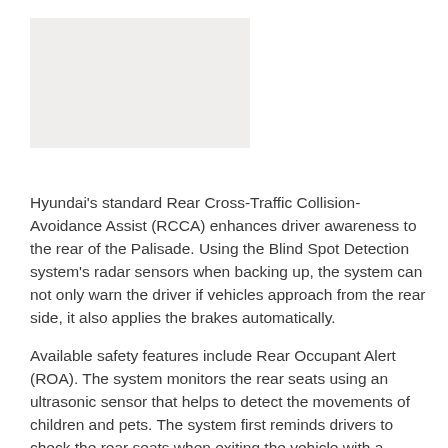[Figure (photo): Placeholder image area, light gray/beige rectangle]
Hyundai's standard Rear Cross-Traffic Collision-Avoidance Assist (RCCA) enhances driver awareness to the rear of the Palisade. Using the Blind Spot Detection system's radar sensors when backing up, the system can not only warn the driver if vehicles approach from the rear side, it also applies the brakes automatically.
Available safety features include Rear Occupant Alert (ROA). The system monitors the rear seats using an ultrasonic sensor that helps to detect the movements of children and pets. The system first reminds drivers to check the rear seats when exiting the vehicle with a message on the center instrument cluster display. If the system detects movement in the rear seats after